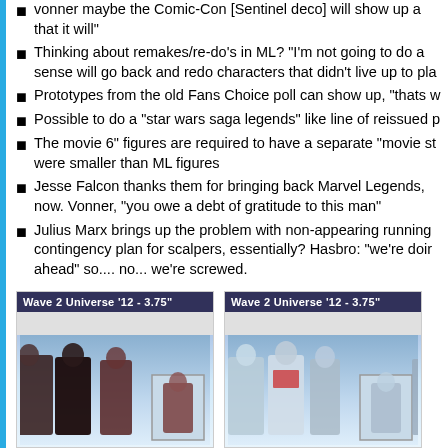vonner  maybe the Comic-Con [Sentinel deco] will show up and that it will"
Thinking about remakes/re-do's in ML? "I'm not going to do a sense will go back and redo characters that didn't live up to pla
Prototypes from the old Fans Choice poll can show up, "thats w
Possible to do a "star wars saga legends" like line of reissued p
The movie 6" figures are required to have a separate "movie st were smaller than ML figures
Jesse Falcon thanks them for bringing back Marvel Legends, now. Vonner, "you owe a debt of gratitude to this man"
Julius Marx brings up the problem with non-appearing running contingency plan for scalpers, essentially? Hasbro: "we're doin ahead" so.... no... we're screwed.
[Figure (photo): Wave 2 Universe '12 - 3.75" toy figures display image showing dark-costumed action figures]
[Figure (photo): Wave 2 Universe '12 - 3.75" toy figures display image showing light/white-costumed action figures]